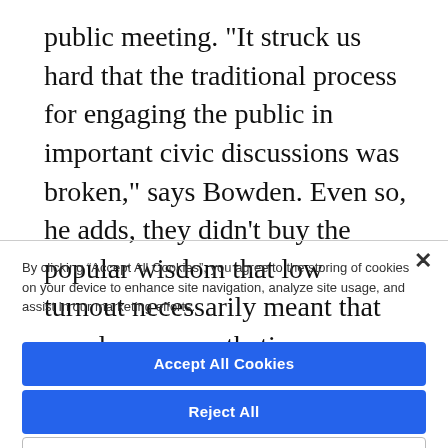public meeting. "It struck us hard that the traditional process for engaging the public in important civic discussions was broken," says Bowden. Even so, he adds, they didn't buy the popular wisdom that low turnout necessarily meant that people were apathetic.
By clicking “Accept All Cookies”, you agree to the storing of cookies on your device to enhance site navigation, analyze site usage, and assist in our marketing efforts.
Accept All Cookies
Reject All
Cookies Settings